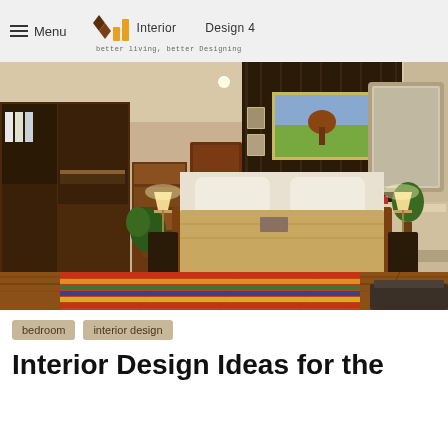Menu | Interior Design 4 — better living, better Designing
[Figure (photo): Interior bedroom photo showing a large bed with beige bedding, dark brown wooden wardrobe on the left, dark wood accent wall behind the bed with a framed painting, two bedside lamps, a dressing table with mirror on the right, and a colorful striped rug on a hardwood floor.]
bedroom
interior design
Interior Design Ideas for the